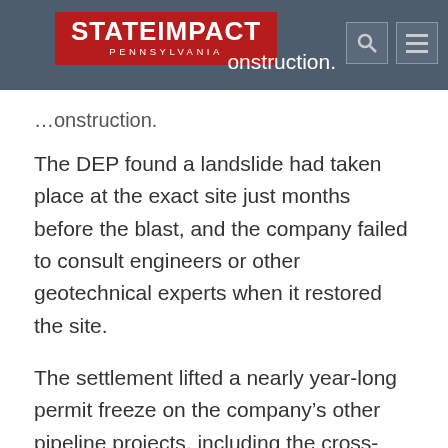[Figure (logo): StateImpact Pennsylvania logo on dark blue/grey header background with search and menu icons]
…onstruction.
The DEP found a landslide had taken place at the exact site just months before the blast, and the company failed to consult engineers or other geotechnical experts when it restored the site.
The settlement lifted a nearly year-long permit freeze on the company's other pipeline projects, including the cross-state Mariner East pipelines.